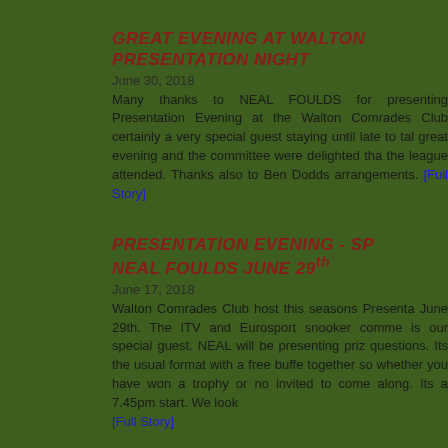GREAT EVENING AT WALTON PRESENTATION NIGHT
June 30, 2018
Many thanks to NEAL FOULDS for presenting Presentation Evening at the Walton Comrades Club certainly a very special guest staying until late to talk great evening and the committee were delighted that the league attended. Thanks also to Ben Dodds arrangements.
PRESENTATION EVENING - SP NEAL FOULDS JUNE 29th
June 17, 2018
Walton Comrades Club host this seasons Presentation June 29th. The ITV and Eurosport snooker commentator is our special guest. NEAL will be presenting prizes questions. Its the usual format with a free buffet together so whether you have won a trophy or not invited to come along. Its a 7.45pm start. We look
RYAN EXCELS IN BILLIARDS C